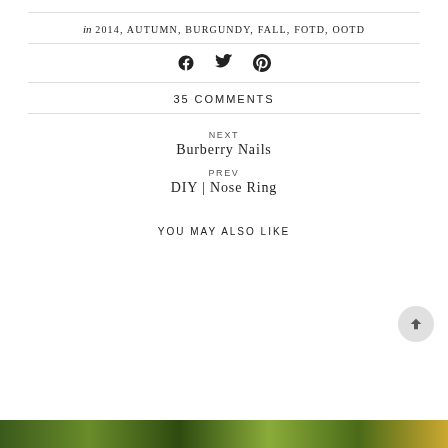in 2014, AUTUMN, BURGUNDY, FALL, FOTD, OOTD
[Figure (other): Social share icons: Facebook, Twitter, Pinterest]
35 COMMENTS
NEXT
Burberry Nails
PREV
DIY | Nose Ring
YOU MAY ALSO LIKE
[Figure (photo): Bottom strip showing outdoor foliage/nature scene]